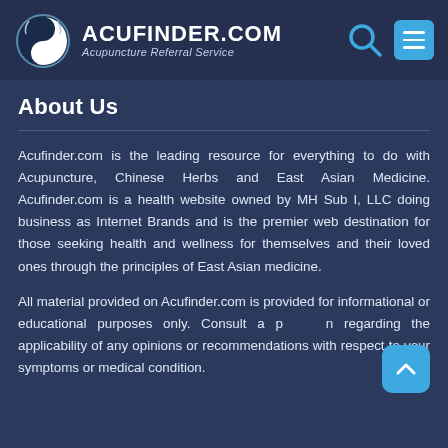ACUFINDER.COM — Acupuncture Referral Service
About Us
Acufinder.com is the leading resource for everything to do with Acupuncture, Chinese Herbs and East Asian Medicine. Acufinder.com is a health website owned by MH Sub I, LLC doing business as Internet Brands and is the premier web destination for those seeking health and wellness for themselves and their loved ones through the principles of East Asian medicine.
All material provided on Acufinder.com is provided for informational or educational purposes only. Consult a physician regarding the applicability of any opinions or recommendations with respect to your symptoms or medical condition.